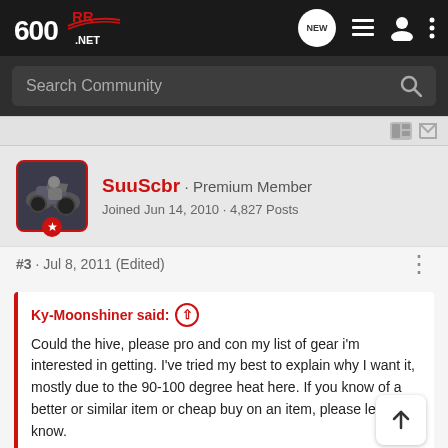600RR.NET
Search Community
SuuScbr · Premium Member
Joined Jun 14, 2010 · 4,827 Posts
#3 · Jul 8, 2011 (Edited)
Ky-Moonshiner said: ↑
Could the hive, please pro and con my list of gear i'm interested in getting. I've tried my best to explain why I want it, mostly due to the 90-100 degree heat here. If you know of a better or similar item or cheap buy on an item, please let me know.